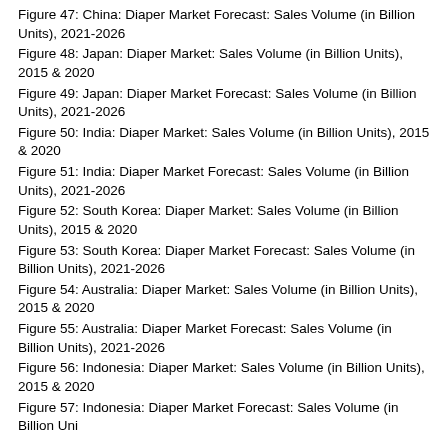Figure 47: China: Diaper Market Forecast: Sales Volume (in Billion Units), 2021-2026
Figure 48: Japan: Diaper Market: Sales Volume (in Billion Units), 2015 & 2020
Figure 49: Japan: Diaper Market Forecast: Sales Volume (in Billion Units), 2021-2026
Figure 50: India: Diaper Market: Sales Volume (in Billion Units), 2015 & 2020
Figure 51: India: Diaper Market Forecast: Sales Volume (in Billion Units), 2021-2026
Figure 52: South Korea: Diaper Market: Sales Volume (in Billion Units), 2015 & 2020
Figure 53: South Korea: Diaper Market Forecast: Sales Volume (in Billion Units), 2021-2026
Figure 54: Australia: Diaper Market: Sales Volume (in Billion Units), 2015 & 2020
Figure 55: Australia: Diaper Market Forecast: Sales Volume (in Billion Units), 2021-2026
Figure 56: Indonesia: Diaper Market: Sales Volume (in Billion Units), 2015 & 2020
Figure 57: Indonesia: Diaper Market Forecast: Sales Volume (in Billion Units), ...